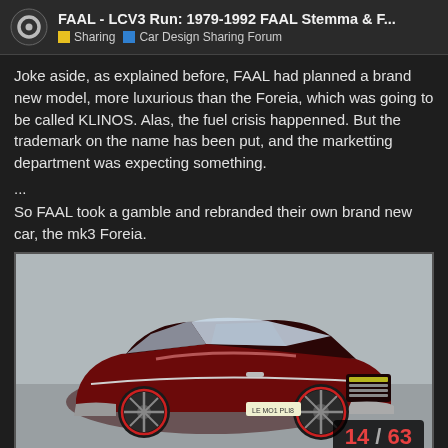FAAL - LCV3 Run: 1979-1992 FAAL Stemma & F... | Sharing | Car Design Sharing Forum
Joke aside, as explained before, FAAL had planned a brand new model, more luxurious than the Foreia, which was going to be called KLINOS. Alas, the fuel crisis happenned. But the trademark on the name has been put, and the marketting department was expecting something.
...
So FAAL took a gamble and rebranded their own brand new car, the mk3 Foreia.
[Figure (photo): 3D render of a dark red/maroon car (mk3 Foreia) in a three-quarter front view on a snowy/grey surface. The car has chrome trim, a black roof, black multi-spoke wheels with red accents, and yellow/green headlights. A page counter '14 / 63' appears in the bottom right corner.]